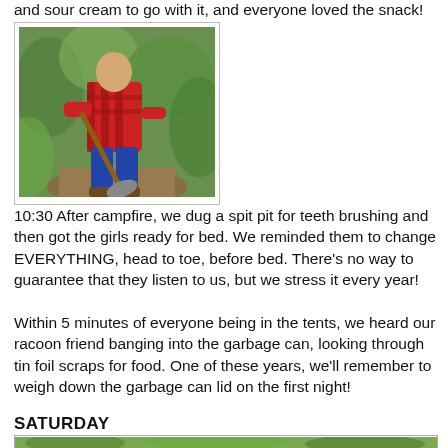and sour cream to go with it, and everyone loved the snack!
[Figure (photo): Person in red plaid shirt and jeans digging with a shovel in a grassy area outdoors]
10:30 After campfire, we dug a spit pit for teeth brushing and then got the girls ready for bed. We reminded them to change EVERYTHING, head to toe, before bed. There’s no way to guarantee that they listen to us, but we stress it every year!
Within 5 minutes of everyone being in the tents, we heard our racoon friend banging into the garbage can, looking through tin foil scraps for food. One of these years, we’ll remember to weigh down the garbage can lid on the first night!
SATURDAY
[Figure (photo): Outdoor nature/garden scene, partially visible at bottom of page]